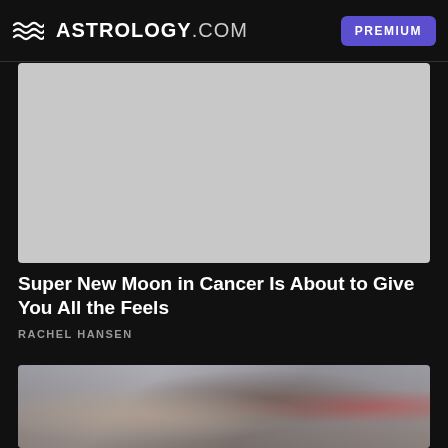ASTROLOGY.COM  PREMIUM
[Figure (photo): Gray placeholder image for article about Super New Moon in Cancer]
Super New Moon in Cancer Is About to Give You All the Feels
RACHEL HANSEN
[Figure (photo): Photo of a couple embracing, woman smiling, red balloons in background]